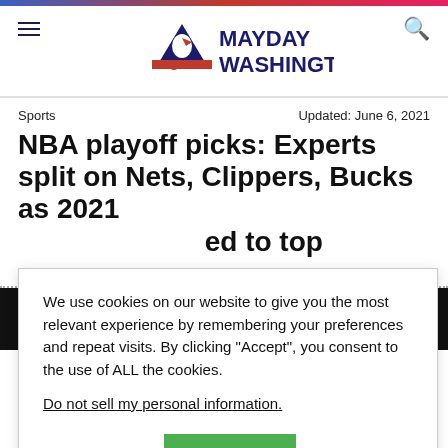Mayday Washington
Sports | Updated: June 6, 2021
NBA playoff picks: Experts split on Nets, Clippers, Bucks as 2021 [title continues - partially obscured] ed to top
5, 2021 | 42 views
We use cookies on our website to give you the most relevant experience by remembering your preferences and repeat visits. By clicking "Accept", you consent to the use of ALL the cookies.
Do not sell my personal information.
Cookie settings | ACCEPT